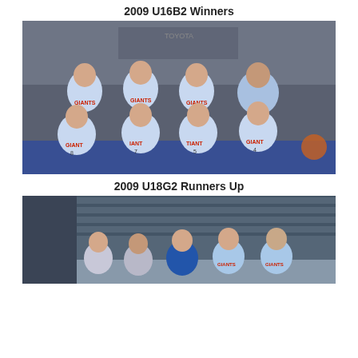2009 U16B2 Winners
[Figure (photo): Group photo of a youth girls basketball team called the Giants, wearing light blue uniforms with red lettering, posed in two rows on bleachers inside an indoor basketball stadium with a Toyota sponsor banner visible in background. Eight players and one coach/adult.]
2009 U18G2 Runners Up
[Figure (photo): Partial group photo of another youth basketball team, also wearing Giants uniforms, posed in front of what appears to be a corrugated iron wall inside a sports venue. Several players and one person in a blue polo shirt visible.]